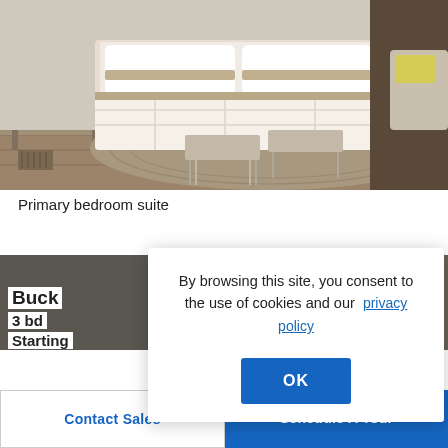[Figure (photo): Interior bedroom photo showing a large bed with white and tan bedding, a fuzzy gray area rug, two benches at the foot of the bed with chrome legs, a gray dresser on the left, and a beige armchair with yellow pillow on the right. Hardwood floors visible.]
Primary bedroom suite
[Figure (photo): Partial view of another interior room, showing gray walls, partially obscured by a cookie consent modal overlay.]
Buck
3 bd
Starting
By browsing this site, you consent to the use of cookies and our  privacy policy
OK
Contact Sales
Schedule A Tour